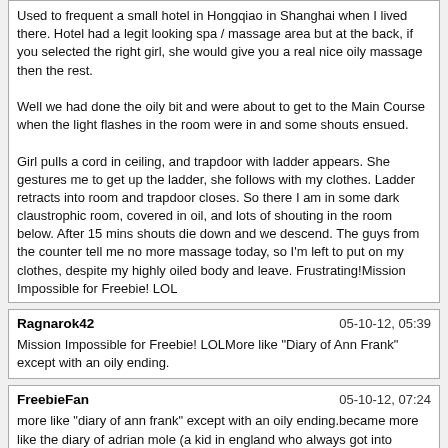Used to frequent a small hotel in Hongqiao in Shanghai when I lived there. Hotel had a legit looking spa / massage area but at the back, if you selected the right girl, she would give you a real nice oily massage then the rest.

Well we had done the oily bit and were about to get to the Main Course when the light flashes in the room were in and some shouts ensued.

Girl pulls a cord in ceiling, and trapdoor with ladder appears. She gestures me to get up the ladder, she follows with my clothes. Ladder retracts into room and trapdoor closes. So there I am in some dark claustrophic room, covered in oil, and lots of shouting in the room below. After 15 mins shouts die down and we descend. The guys from the counter tell me no more massage today, so I'm left to put on my clothes, despite my highly oiled body and leave. Frustrating!Mission Impossible for Freebie! LOL
Ragnarok42	05-10-12, 05:39
Mission Impossible for Freebie! LOLMore like "Diary of Ann Frank" except with an oily ending.
FreebieFan	05-10-12, 07:24
more like "diary of ann frank" except with an oily ending.became more like the diary of adrian mole (a kid in england who always got into scrapes) when i got home and wife says " hmm. why is your shirt all wet ". damn that oil
HB123	05-10-12, 15:12
Just an HJ. Others have said they were more adventuress with their hands, and the women didn't mind, but I was not so aggressive as I was about as tired as could be.Thanks Tijuana. Sorry for the name confusion.

HB